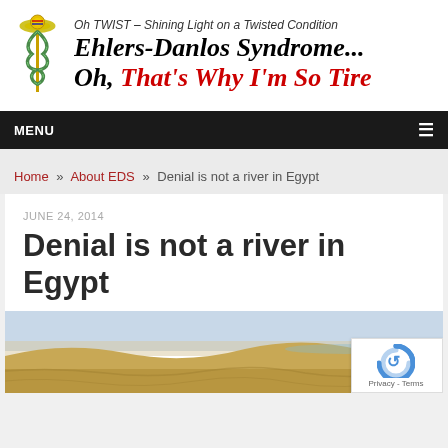Oh TWIST - Shining Light on a Twisted Condition
Ehlers-Danlos Syndrome...
Oh, That's Why I'm So Tire
MENU
Home » About EDS » Denial is not a river in Egypt
JUNE 24, 2014
Denial is not a river in Egypt
[Figure (photo): Desert landscape with sandy terrain and a body of water or hazy sky in the background]